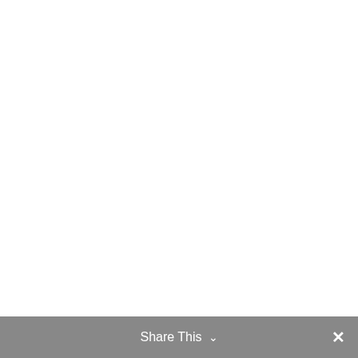hArtsResource'sposts.About
Share This ∨  ×